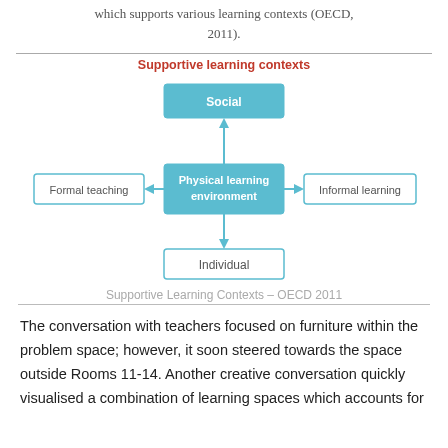which supports various learning contexts (OECD, 2011).
[Figure (flowchart): Diagram showing Physical learning environment at center, connected to Social (top, arrow up), Individual (bottom, arrow down), Formal teaching (left, arrow left), and Informal learning (right, arrow right). Title: Supportive learning contexts.]
Supportive Learning Contexts – OECD 2011
The conversation with teachers focused on furniture within the problem space; however, it soon steered towards the space outside Rooms 11-14. Another creative conversation quickly visualised a combination of learning spaces which accounts for